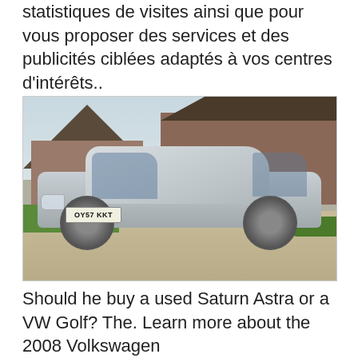statistiques de visites ainsi que pour vous proposer des services et des publicités ciblées adaptés à vos centres d'intérêts..
[Figure (photo): A silver Volkswagen Golf hatchback (registration OY57 KKT) parked on a gravel driveway in front of a brick building with a tiled roof]
Should he buy a used Saturn Astra or a VW Golf? The. Learn more about the 2008 Volkswagen